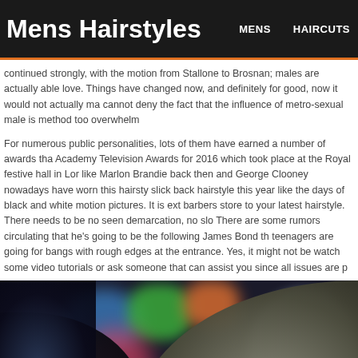Mens Hairstyles   MENS   HAIRCUTS
continued strongly, with the motion from Stallone to Brosnan; males are actually able love. Things have changed now, and definitely for good, now it would not actually ma cannot deny the fact that the influence of metro-sexual male is method too overwhelm
For numerous public personalities, lots of them have earned a number of awards tha Academy Television Awards for 2016 which took place at the Royal festive hall in Lor like Marlon Brandie back then and George Clooney nowadays have worn this hairsty slick back hairstyle this year like the days of black and white motion pictures. It is ext barbers store to your latest hairstyle. There needs to be no seen demarcation, no slo There are some rumors circulating that he's going to be the following James Bond th teenagers are going for bangs with rough edges at the entrance. Yes, it might not be watch some video tutorials or ask someone that can assist you since all issues are p
[Figure (photo): Blurred background with colorful bokeh lights (blue, green, orange, pink) and the back of a person's head showing their hair in the foreground, dark silhouette on the left.]